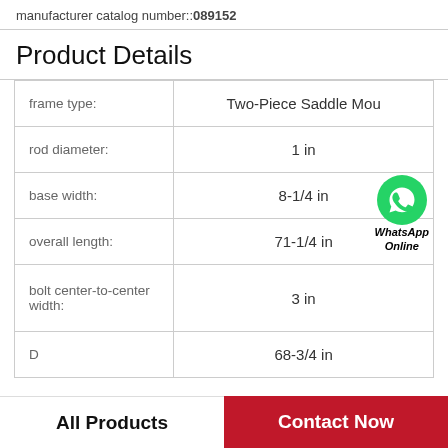manufacturer catalog number::089152
Product Details
|  |  |
| --- | --- |
| frame type: | Two-Piece Saddle Mou |
| rod diameter: | 1 in |
| base width: | 8-1/4 in |
| overall length: | 71-1/4 in |
| bolt center-to-center width: | 3 in |
| D | 68-3/4 in |
[Figure (logo): WhatsApp green phone icon with text 'WhatsApp Online' in bold italic]
All Products
Contact Now